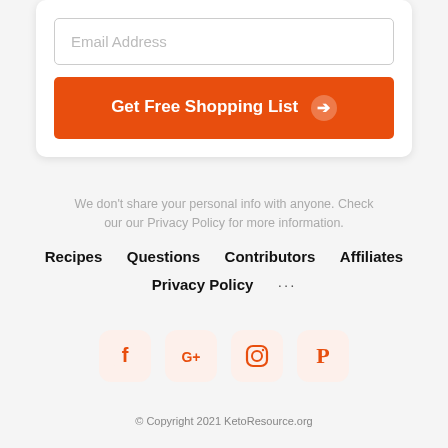[Figure (screenshot): Email sign-up form with 'Email Address' input field and orange 'Get Free Shopping List' button with arrow icon]
We don't share your personal info with anyone. Check our our Privacy Policy for more information.
Recipes   Questions   Contributors   Affiliates   Privacy Policy   ...
[Figure (other): Social media icons: Facebook, Google+, Instagram, Pinterest in rounded square orange-tinted boxes]
© Copyright 2021 KetoResource.org